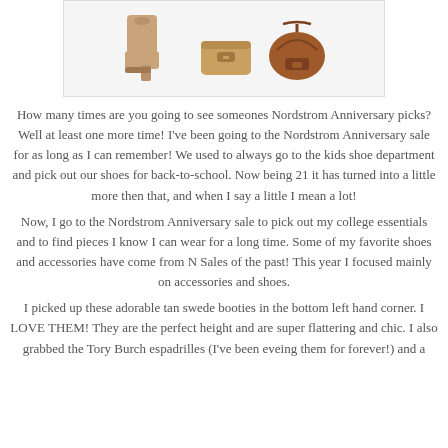[Figure (photo): Product image showing tan suede block-heel booties on the left, a tan/camel structured clutch/wallet in the center, and a brown crossbody saddle bag on the right against a white background.]
How many times are you going to see someones Nordstrom Anniversary picks? Well at least one more time! I've been going to the Nordstrom Anniversary sale for as long as I can remember! We used to always go to the kids shoe department and pick out our shoes for back-to-school. Now being 21 it has turned into a little more then that, and when I say a little I mean a lot!
Now, I go to the Nordstrom Anniversary sale to pick out my college essentials and to find pieces I know I can wear for a long time. Some of my favorite shoes and accessories have come from N Sales of the past! This year I focused mainly on accessories and shoes.
I picked up these adorable tan swede booties in the bottom left hand corner. I LOVE THEM! They are the perfect height and are super flattering and chic. I also grabbed the Tory Burch espadrilles (I've been eveing them for forever!) and a